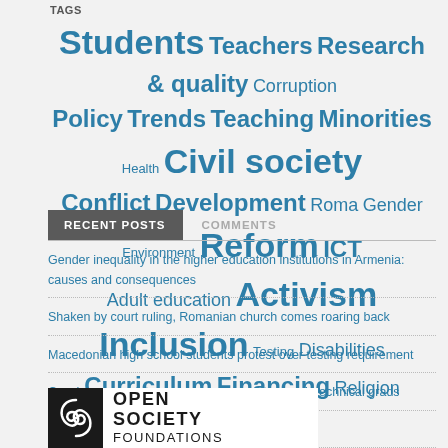TAGS
Students Teachers Research & quality Corruption Policy Trends Teaching Minorities Health Civil society Conflict Development Roma Gender Environment Reform ICT Adult education Activism Inclusion Testing Disabilities Curriculum Financing Religion Violence
RECENT POSTS | COMMENTS
Gender inequality in the higher education institutions in Armenia: causes and consequences
Shaken by court ruling, Romanian church comes roaring back
Macedonian high school students protest over testing requirement
Czech president: too many lawyers, not enough technical grads
Lithuania: Predators in the schoolyard
[Figure (logo): Open Society Foundations logo with spiral icon and bold text]